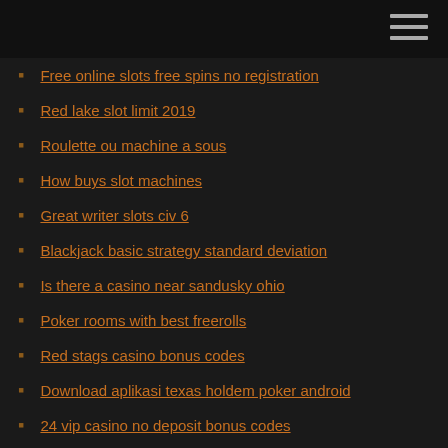Free online slots free spins no registration
Red lake slot limit 2019
Roulette ou machine a sous
How buys slot machines
Great writer slots civ 6
Blackjack basic strategy standard deviation
Is there a casino near sandusky ohio
Poker rooms with best freerolls
Red stags casino bonus codes
Download aplikasi texas holdem poker android
24 vip casino no deposit bonus codes
Closest casino to new braunfels
Patin a roulette tortue ninja
Wolf quest full game